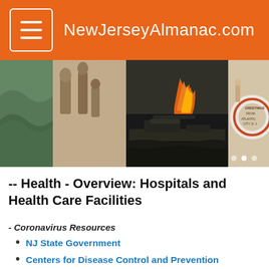NewJerseyAlmanac.com
[Figure (photo): Hero image strip showing four panels: a green nature/wave scene, a black-and-white historical engraving of Native Americans, a color photo of a warship firing with flames, and a vintage postcard greeting from Atlantic City NJ with a woman holding a life preserver ring.]
-- Health - Overview: Hospitals and Health Care Facilities
- Coronavirus Resources
NJ State Government
Centers for Disease Control and Prevention
CARES Act aid for workers and small business